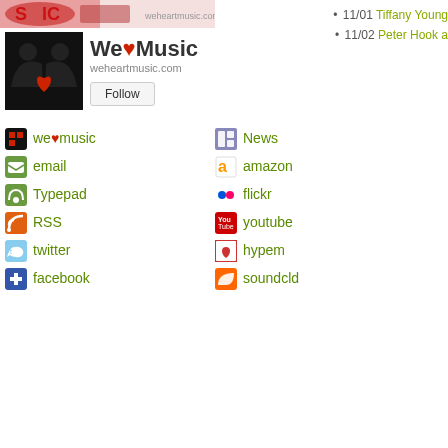[Figure (illustration): Top banner image with pink/red musical theme and text partially visible]
[Figure (photo): We Heart Music profile avatar: black background with silhouette of two people kissing and a heart shape]
We♥Music
weheartmusic.com
we♥music
email
Typepad
RSS
twitter
facebook
News
amazon
flickr
youtube
hypem
soundcld
• 11/01 Tiffany Young
• 11/02 Peter Hook a